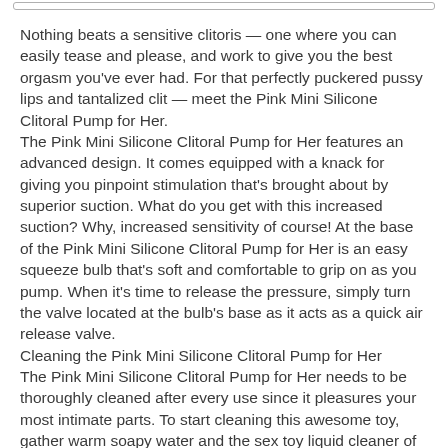Nothing beats a sensitive clitoris — one where you can easily tease and please, and work to give you the best orgasm you've ever had. For that perfectly puckered pussy lips and tantalized clit — meet the Pink Mini Silicone Clitoral Pump for Her. The Pink Mini Silicone Clitoral Pump for Her features an advanced design. It comes equipped with a knack for giving you pinpoint stimulation that's brought about by superior suction. What do you get with this increased suction? Why, increased sensitivity of course! At the base of the Pink Mini Silicone Clitoral Pump for Her is an easy squeeze bulb that's soft and comfortable to grip on as you pump. When it's time to release the pressure, simply turn the valve located at the bulb's base as it acts as a quick air release valve. Cleaning the Pink Mini Silicone Clitoral Pump for Her The Pink Mini Silicone Clitoral Pump for Her needs to be thoroughly cleaned after every use since it pleasures your most intimate parts. To start cleaning this awesome toy, gather warm soapy water and the sex toy liquid cleaner of your choice into a bowl or your sink and soak the toy for a